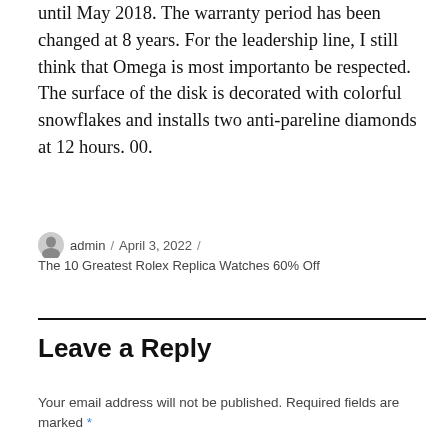until May 2018. The warranty period has been changed at 8 years. For the leadership line, I still think that Omega is most importanto be respected. The surface of the disk is decorated with colorful snowflakes and installs two anti-pareline diamonds at 12 hours. 00.
admin / April 3, 2022 / The 10 Greatest Rolex Replica Watches 60% Off
Leave a Reply
Your email address will not be published. Required fields are marked *